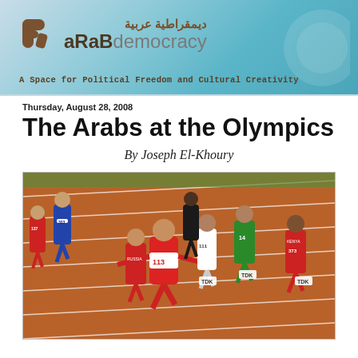Arab Democracy — A Space for Political Freedom and Cultural Creativity
Thursday, August 28, 2008
The Arabs at the Olympics
By Joseph El-Khoury
[Figure (photo): Athletes competing in a track race, with runner number 113 in red and white uniform crossing the finish line with arms outstretched, surrounded by other runners on a red athletics track]